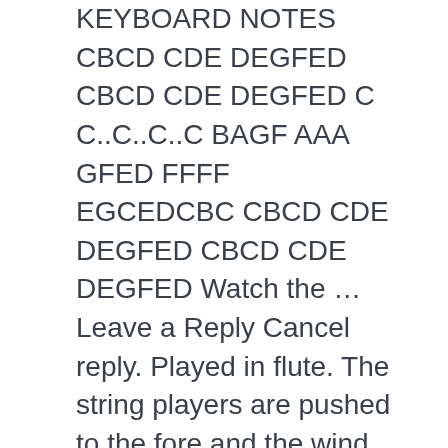KEYBOARD NOTES CBCD CDE DEGFED CBCD CDE DEGFED C C..C..C..C BAGF AAA GFED FFFF EGCEDCBC CBCD CDE DEGFED CBCD CDE DEGFED Watch the … Leave a Reply Cancel reply. Played in flute. The string players are pushed to the fore and the wind section is larger than usual – he even uses clarinets. No. Check out Gustav Mahler: Symphony No. Hi Folks,This our attempt in making a fusion cover, a bit of jugal bandi with the Indian touch, of one of those jingles which we have heard from childhood. Mon 25 Jan at 19:30. 25 by RinG from desktop or your mobile device This video is unavailable. Also various compositions that contain "symphony" or "sinfonia" in their name are included, whether or